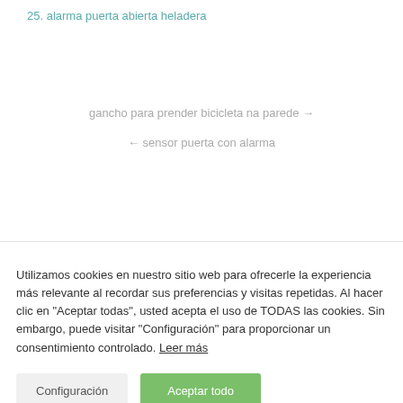25. alarma puerta abierta heladera
gancho para prender bicicleta na parede →
← sensor puerta con alarma
Utilizamos cookies en nuestro sitio web para ofrecerle la experiencia más relevante al recordar sus preferencias y visitas repetidas. Al hacer clic en "Aceptar todas", usted acepta el uso de TODAS las cookies. Sin embargo, puede visitar "Configuración" para proporcionar un consentimiento controlado. Leer más
Configuración
Aceptar todo